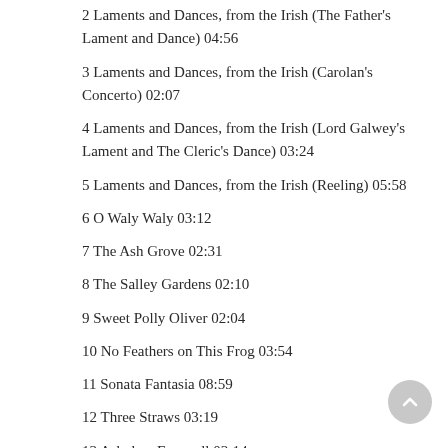2 Laments and Dances, from the Irish (The Father's Lament and Dance) 04:56
3 Laments and Dances, from the Irish (Carolan's Concerto) 02:07
4 Laments and Dances, from the Irish (Lord Galwey's Lament and The Cleric's Dance) 03:24
5 Laments and Dances, from the Irish (Reeling) 05:58
6 O Waly Waly 03:12
7 The Ash Grove 02:31
8 The Salley Gardens 02:10
9 Sweet Polly Oliver 02:04
10 No Feathers on This Frog 03:54
11 Sonata Fantasia 08:59
12 Three Straws 03:19
13 Ashokan Farewell 03:14
14 The Gentle Earl 02:49